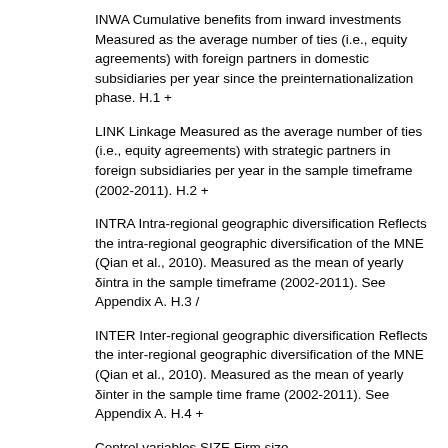INWA Cumulative benefits from inward investments Measured as the average number of ties (i.e., equity agreements) with foreign partners in domestic subsidiaries per year since the preinternationalization phase. H.1 +
LINK Linkage Measured as the average number of ties (i.e., equity agreements) with strategic partners in foreign subsidiaries per year in the sample timeframe (2002-2011). H.2 +
INTRA Intra-regional geographic diversification Reflects the intra-regional geographic diversification of the MNE (Qian et al., 2010). Measured as the mean of yearly δintra in the sample timeframe (2002-2011). See Appendix A. H.3 /
INTER Inter-regional geographic diversification Reflects the inter-regional geographic diversification of the MNE (Qian et al., 2010). Measured as the mean of yearly δinter in the sample time frame (2002-2011). See Appendix A. H.4 +
Control variables SIZE Firm size